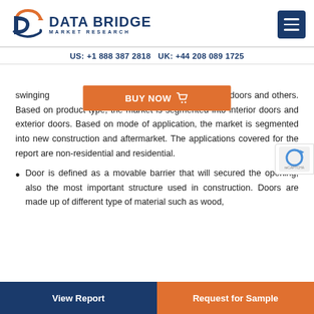DATA BRIDGE MARKET RESEARCH
US: +1 888 387 2818 UK: +44 208 089 1725
swinging doors, folding doors, overhead doors and others. Based on product type, the market is segmented into interior doors and exterior doors. Based on mode of application, the market is segmented into new construction and aftermarket. The applications covered for the report are non-residential and residential.
Door is defined as a movable barrier that will secured the opening, also the most important structure used in construction. Doors are made up of different type of material such as wood,